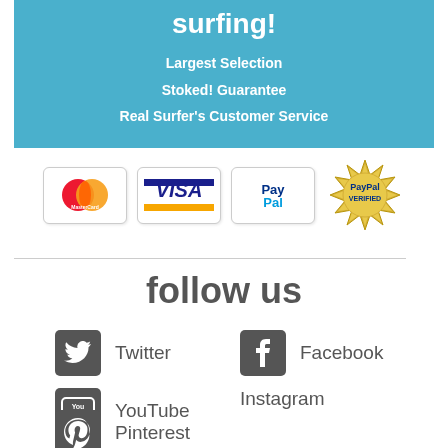surfing!
Largest Selection
Stoked! Guarantee
Real Surfer's Customer Service
[Figure (logo): Payment method logos: MasterCard, VISA, PayPal, PayPal Verified seal]
follow us
Twitter
Facebook
YouTube
Instagram
Pinterest